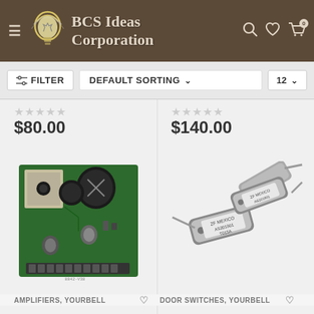[Figure (screenshot): BCS Ideas Corporation e-commerce website header with logo, hamburger menu, search, wishlist, and cart icons on brown background]
FILTER | DEFAULT SORTING | 12
$80.00
$140.00
[Figure (photo): Green circuit board amplifier PCB with capacitors and electronic components]
[Figure (photo): Two gray door switches/magnetic reed switches with labels reading ZF MEXICO AS201901 T015A]
AMPLIFIERS, YOURBELL
DOOR SWITCHES, YOURBELL